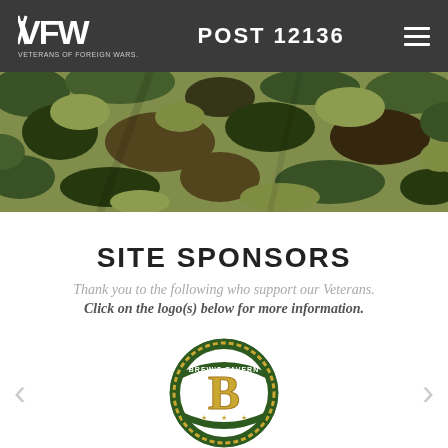VFW VETERANS OF FOREIGN WARS | POST 12136
[Figure (photo): Camouflage fabric texture filling the full width, showing green and brown military camo pattern]
SITE SPONSORS
Thank you to the following who support our Veterans.
Click on the logo(s) below for more information.
[Figure (logo): Brew's Tavern circular badge logo with a large letter B in gold/yellow on green and white background, with decorative border and stars]